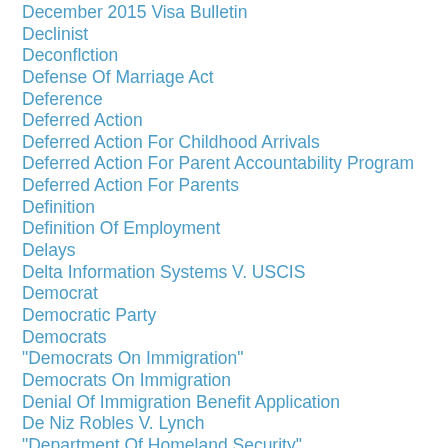December 2015 Visa Bulletin
Declinist
Deconflction
Defense Of Marriage Act
Deference
Deferred Action
Deferred Action For Childhood Arrivals
Deferred Action For Parent Accountability Program
Deferred Action For Parents
Definition
Definition Of Employment
Delays
Delta Information Systems V. USCIS
Democrat
Democratic Party
Democrats
"Democrats On Immigration"
Democrats On Immigration
Denial Of Immigration Benefit Application
De Niz Robles V. Lynch
"Department Of Homeland Security"